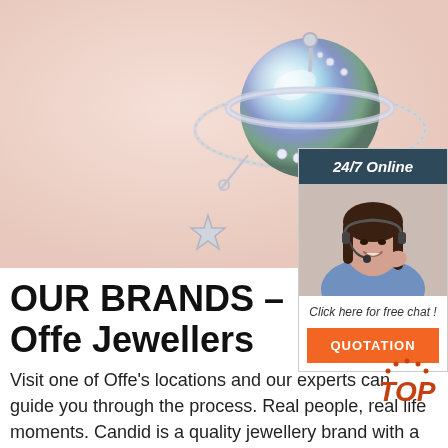[Figure (photo): Close-up photo of a silver planet-shaped pendant necklace with a colorful iridescent pearl globe, small star charm, and crystal accents on a peach/pink background]
[Figure (photo): Sidebar widget showing a customer service agent (woman with headset, smiling) with dark header '24/7 Online', chat prompt 'Click here for free chat!', and orange QUOTATION button]
OUR BRANDS – Offe Jewellers
Visit one of Offe's locations and our experts can guide you through the process. Real people, real life moments. Candid is a quality jewellery brand with a difference. Beautifully crafted sterling sil...